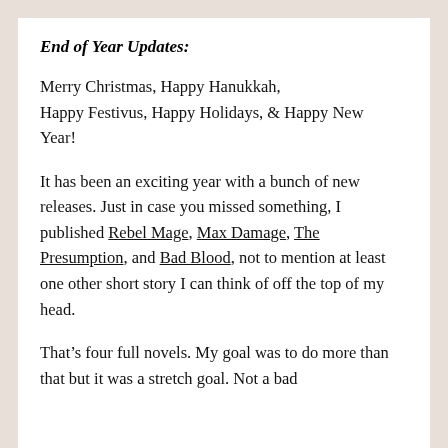End of Year Updates:
Merry Christmas, Happy Hanukkah, Happy Festivus, Happy Holidays, & Happy New Year!
It has been an exciting year with a bunch of new releases. Just in case you missed something, I published Rebel Mage, Max Damage, The Presumption, and Bad Blood, not to mention at least one other short story I can think of off the top of my head.
That’s four full novels. My goal was to do more than that but it was a stretch goal. Not a bad